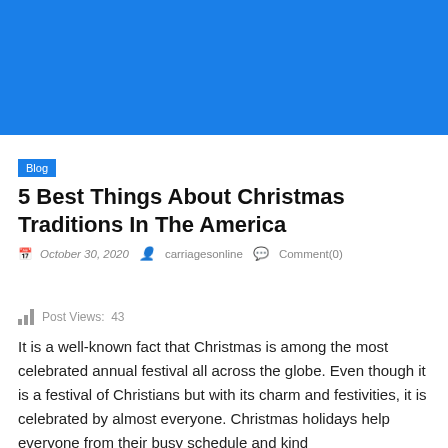[Figure (photo): Blue rectangular banner image at the top of the page]
Blog
5 Best Things About Christmas Traditions In The America
October 30, 2020   carriagesonline   Comment(0)
Post Views: 43
It is a well-known fact that Christmas is among the most celebrated annual festival all across the globe. Even though it is a festival of Christians but with its charm and festivities, it is celebrated by almost everyone. Christmas holidays help everyone from their busy schedule and kind...